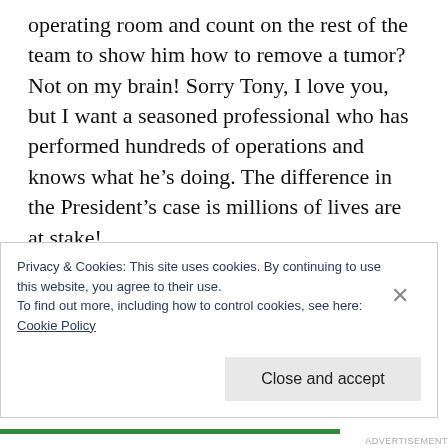operating room and count on the rest of the team to show him how to remove a tumor? Not on my brain! Sorry Tony, I love you, but I want a seasoned professional who has performed hundreds of operations and knows what he’s doing. The difference in the President’s case is millions of lives are at stake!

I’ve never been into politics, but this last election was a stark reminder of why it should matter to me and every American citizen. Every
Privacy & Cookies: This site uses cookies. By continuing to use this website, you agree to their use.
To find out more, including how to control cookies, see here:
Cookie Policy
Close and accept